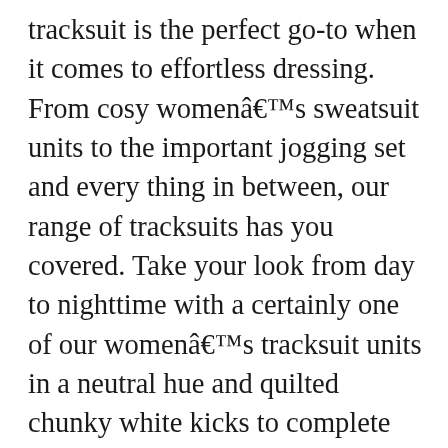tracksuit is the perfect go-to when it comes to effortless dressing. From cosy womenâ€™s sweatsuit units to the important jogging set and every thing in between, our range of tracksuits has you covered. Take your look from day to nighttime with a certainly one of our womenâ€™s tracksuit units in a neutral hue and quilted chunky white kicks to complete the look. Update your workout wear with vital jogging suit you can mix and match. Keep it neutral with sweat units in versatile shades you can wear again and again, or go for a bold neon style to stand out from the gang. Work that sportsluxe